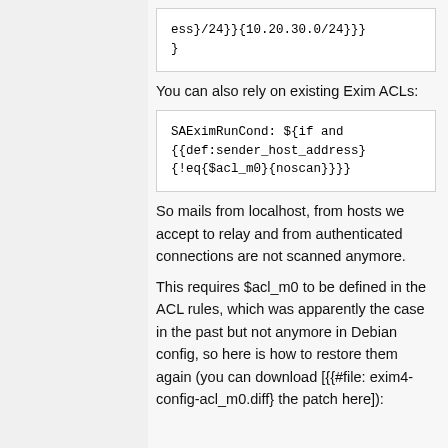ess}/24}}{10.20.30.0/24}}}
}
You can also rely on existing Exim ACLs:
SAEximRunCond: ${if and {{def:sender_host_address}{!eq{$acl_m0}{noscan}}}}
So mails from localhost, from hosts we accept to relay and from authenticated connections are not scanned anymore.
This requires $acl_m0 to be defined in the ACL rules, which was apparently the case in the past but not anymore in Debian config, so here is how to restore them again (you can download [{{#file: exim4-config-acl_m0.diff} the patch here]):